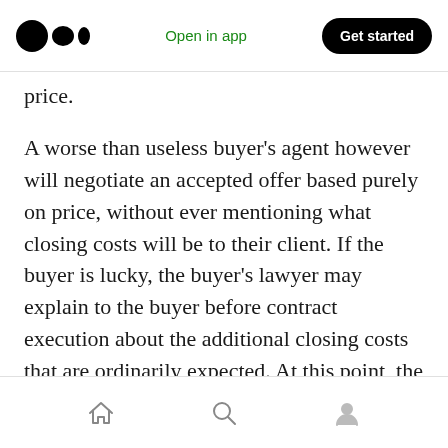Open in app | Get started
price.
A worse than useless buyer’s agent however will negotiate an accepted offer based purely on price, without ever mentioning what closing costs will be to their client. If the buyer is lucky, the buyer’s lawyer may explain to the buyer before contract execution about the additional closing costs that are ordinarily expected. At this point, the buyer will likely just shrug it off since he or she is already so emotionally invested in the purchase.
Home | Search | Profile